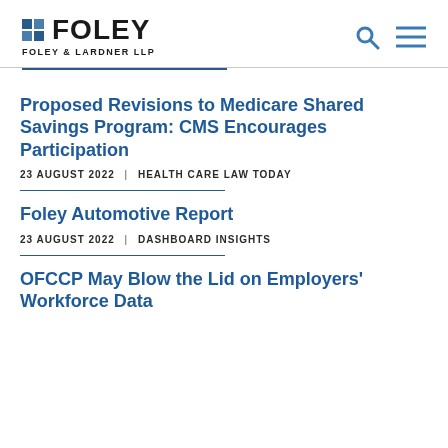FOLEY — FOLEY & LARDNER LLP
Proposed Revisions to Medicare Shared Savings Program: CMS Encourages Participation
23 AUGUST 2022 | HEALTH CARE LAW TODAY
Foley Automotive Report
23 AUGUST 2022 | DASHBOARD INSIGHTS
OFCCP May Blow the Lid on Employers' Workforce Data